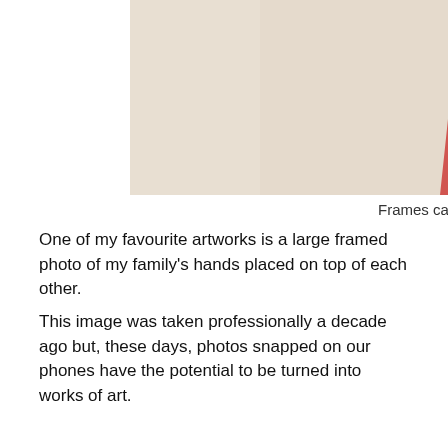[Figure (photo): A woman with long red hair wearing a red dress, photographed from behind/side as she appears to be hanging or placing something on a wall. Light/cream background.]
Frames can be grouped by colour, size or theme.
One of my favourite artworks is a large framed photo of my family’s hands placed on top of each other.
This image was taken professionally a decade ago but, these days, photos snapped on our phones have the potential to be turned into works of art.
“Photos are a great way to stay connected through this strange year, so now is the time to get them off your phone and onto your walls,” says Darla DeMorrow, a professional photo organiser at HeartWork Organising, who offers an online course for those needing help to get their photo collections under control.
“If your photo isn’t large enough to achieve a focal point on its own,